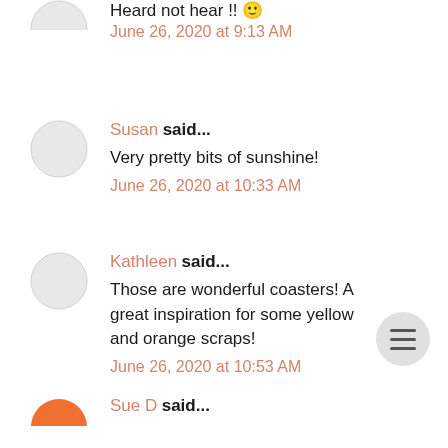Heard not hear !! 🙂
June 26, 2020 at 9:13 AM
Susan said...
Very pretty bits of sunshine!
June 26, 2020 at 10:33 AM
Kathleen said...
Those are wonderful coasters! A great inspiration for some yellow and orange scraps!
June 26, 2020 at 10:53 AM
Sue D said...